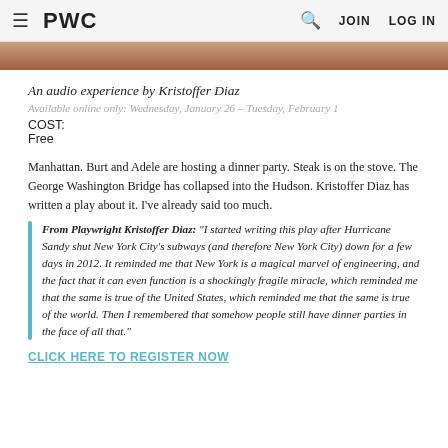≡ PWC  🔍  JOIN  LOG IN
[Figure (photo): Cropped photo showing a person, brownish skin tones visible across full width]
An audio experience by Kristoffer Diaz
Available online only: Wednesday, January 26 – Tuesday, February 1
COST:
Free
Manhattan. Burt and Adele are hosting a dinner party. Steak is on the stove. The George Washington Bridge has collapsed into the Hudson. Kristoffer Diaz has written a play about it. I've already said too much.
From Playwright Kristoffer Diaz: "I started writing this play after Hurricane Sandy shut New York City's subways (and therefore New York City) down for a few days in 2012. It reminded me that New York is a magical marvel of engineering, and the fact that it can even function is a shockingly fragile miracle, which reminded me that the same is true of the United States, which reminded me that the same is true of the world. Then I remembered that somehow people still have dinner parties in the face of all that."
CLICK HERE TO REGISTER NOW